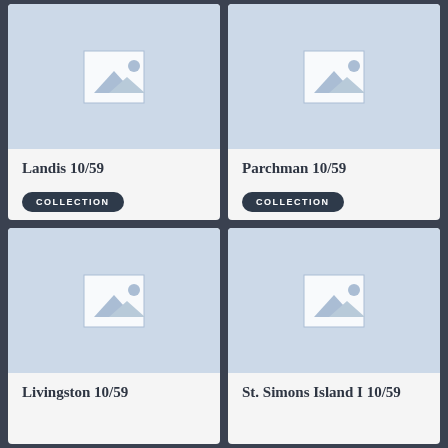[Figure (illustration): Placeholder image thumbnail for Landis 10/59 collection item]
Landis 10/59
COLLECTION
[Figure (illustration): Placeholder image thumbnail for Parchman 10/59 collection item]
Parchman 10/59
COLLECTION
[Figure (illustration): Placeholder image thumbnail for Livingston 10/59 collection item]
Livingston 10/59
[Figure (illustration): Placeholder image thumbnail for St. Simons Island I 10/59 collection item]
St. Simons Island I 10/59